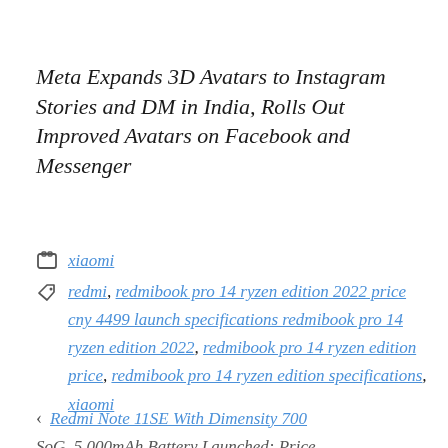Meta Expands 3D Avatars to Instagram Stories and DM in India, Rolls Out Improved Avatars on Facebook and Messenger
Category: xiaomi
Tags: redmi, redmibook pro 14 ryzen edition 2022 price cny 4499 launch specifications redmibook pro 14 ryzen edition 2022, redmibook pro 14 ryzen edition price, redmibook pro 14 ryzen edition specifications, xiaomi
< Redmi Note 11SE With Dimensity 700